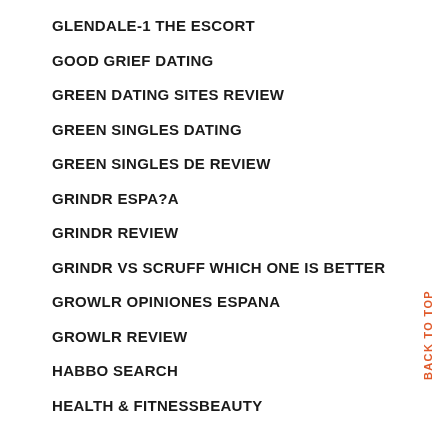GLENDALE-1 THE ESCORT
GOOD GRIEF DATING
GREEN DATING SITES REVIEW
GREEN SINGLES DATING
GREEN SINGLES DE REVIEW
GRINDR ESPA?A
GRINDR REVIEW
GRINDR VS SCRUFF WHICH ONE IS BETTER
GROWLR OPINIONES ESPANA
GROWLR REVIEW
HABBO SEARCH
HEALTH & FITNESSBEAUTY
BACK TO TOP